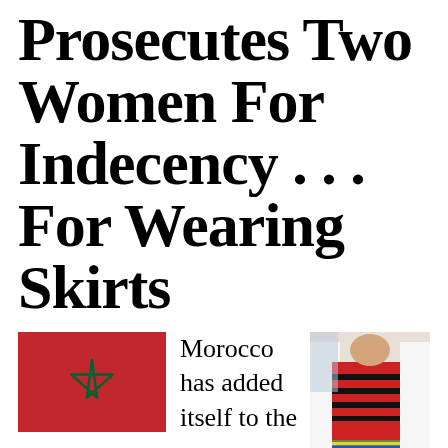Prosecutes Two Women For Indecency . . . For Wearing Skirts
[Figure (illustration): Moroccan flag (red background with green pentacle star in center)]
Morocco has added itself to the list of farcical counties in the Middle East with two women prosecuted for wearing
[Figure (photo): Photo of a person wearing a traditional embroidered red and black skirt with colorful fringe, with white fabric visible]